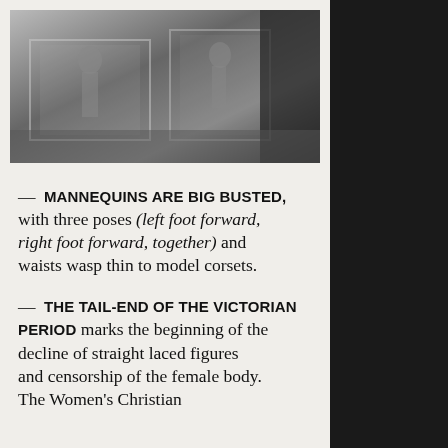[Figure (photo): Black and white photograph of a museum display with glass cases showing mannequins or fashion exhibits, viewed from the side.]
— MANNEQUINS ARE BIG BUSTED, with three poses (left foot forward, right foot forward, together) and waists wasp thin to model corsets.
— THE TAIL-END OF THE VICTORIAN PERIOD marks the beginning of the decline of straight laced figures and censorship of the female body. The Women's Christian